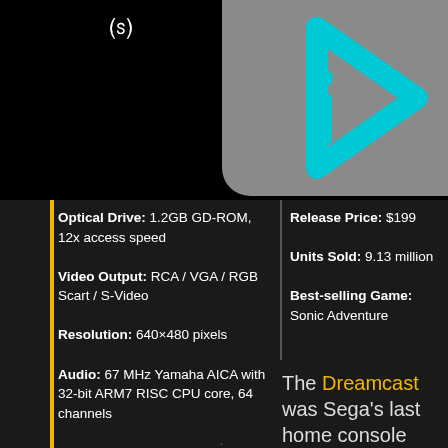[Figure (logo): Gray rounded rectangle logo with cyan/teal triangular play-button shape and letter i — appears to be an info/media app icon]
Optical Drive: 1.2GB GD-ROM, 12x access speed
Video Output: RCA / VGA / RGB Scart / S-Video
Resolution: 640×480 pixels
Audio: 67 MHz Yamaha AICA with 32-bit ARM7 RISC CPU core, 64 channels
Release Price: $199
Units Sold: 9.13 million
Best-selling Game: Sonic Adventure
The Dreamcast was Sega's last home console and the end of